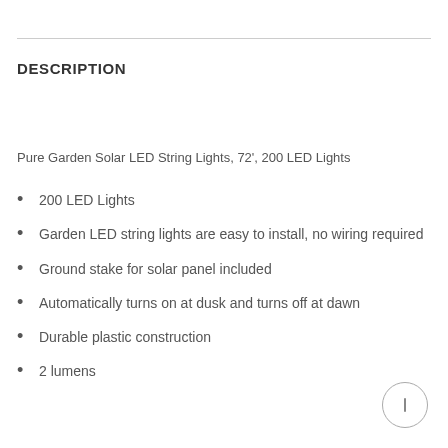DESCRIPTION
Pure Garden Solar LED String Lights, 72', 200 LED Lights
200 LED Lights
Garden LED string lights are easy to install, no wiring required
Ground stake for solar panel included
Automatically turns on at dusk and turns off at dawn
Durable plastic construction
2 lumens